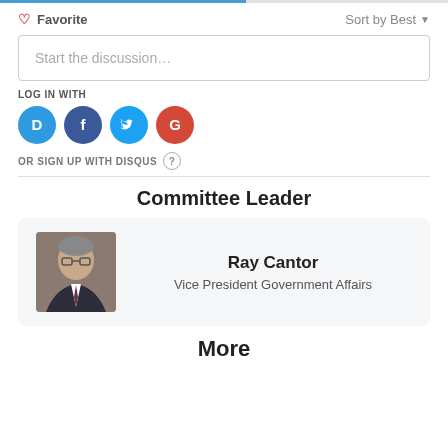Favorite
Sort by Best
Start the discussion…
LOG IN WITH
[Figure (logo): Social login icons: Disqus (blue), Facebook (dark blue), Twitter (light blue), Google (red)]
OR SIGN UP WITH DISQUS
Committee Leader
[Figure (photo): Headshot of Ray Cantor, an older man with glasses in a suit]
Ray Cantor
Vice President Government Affairs
More